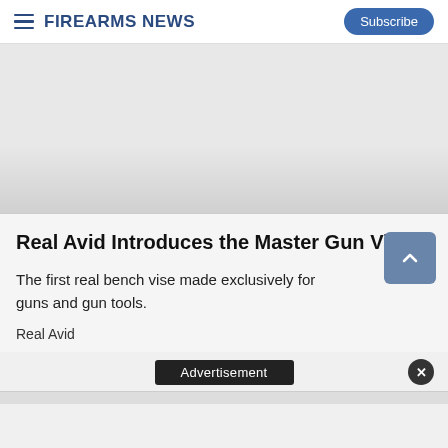Firearms News
[Figure (photo): Article hero image placeholder — light gray area above article card]
Real Avid Introduces the Master Gun Vise
The first real bench vise made exclusively for guns and gun tools.
Real Avid
Advertisement